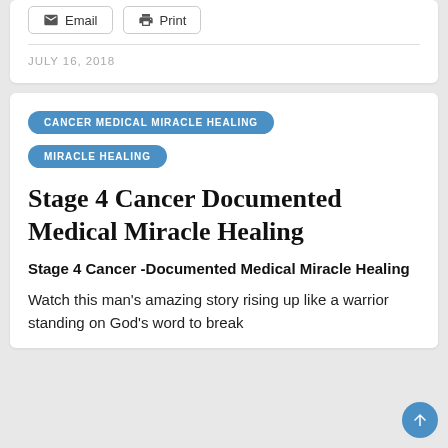Email   Print
JULY 16, 2018
CANCER MEDICAL MIRACLE HEALING
MIRACLE HEALING
Stage 4 Cancer Documented Medical Miracle Healing
Stage 4 Cancer -Documented Medical Miracle Healing
Watch this man's amazing story rising up like a warrior standing on God's word to break